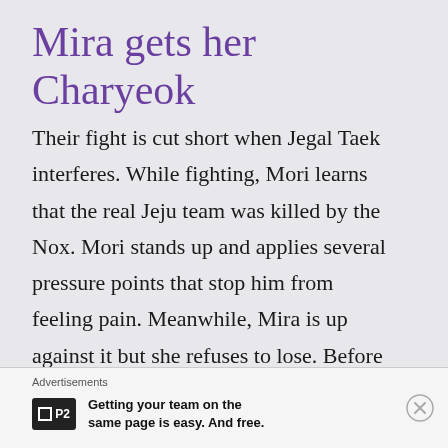Mira gets her Charyeok
Their fight is cut short when Jegal Taek interferes. While fighting, Mori learns that the real Jeju team was killed by the Nox. Mori stands up and applies several pressure points that stop him from feeling pain. Meanwhile, Mira is up against it but she refuses to lose. Before Marin hits her with a finishing blow, she hears the voice of the great hero, Lu Bu
Advertisements
Getting your team on the same page is easy. And free.